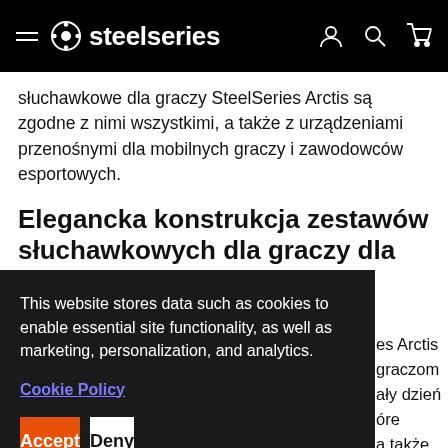steelseries (navigation bar with hamburger menu, logo, and icons for account, search, cart)
słuchawkowe dla graczy SteelSeries Arctis są zgodne z nimi wszystkimi, a także z urządzeniami przenośnymi dla mobilnych graczy i zawodowców esportowych.
Elegancka konstrukcja zestawów słuchawkowych dla graczy dla
This website stores data such as cookies to enable essential site functionality, as well as marketing, personalization, and analytics.
Cookie Policy
Accept
Deny
es Arctis graczom ały dzień óre a także nionemu rażenia